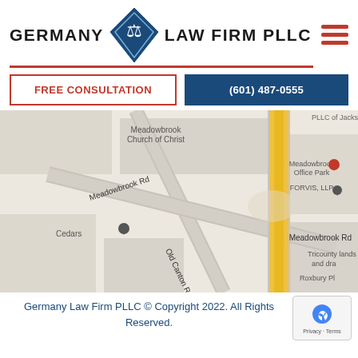[Figure (logo): Germany Law Firm PLLC logo with blue diamond shape containing scales of justice icon, red horizontal lines, and firm name text]
FREE CONSULTATION
(601) 487-0555
[Figure (map): Google Maps screenshot showing intersection of Meadowbrook Rd and Old Canton Rd with nearby landmarks: Meadowbrook Church of Christ, Meadowbrook Office Park, FORVIS LLP, Cedars, Tricounty lands and dra, Roxbury Pl]
Germany Law Firm PLLC © Copyright 2022. All Rights Reserved.